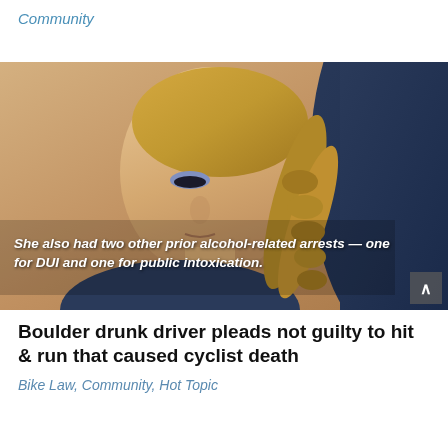Community
[Figure (photo): A young woman with blonde braided hair and blue eye makeup sitting in what appears to be a courtroom, looking upward. A person in a dark jacket is partially visible to the right. An overlay caption reads: She also had two other prior alcohol-related arrests — one for DUI and one for public intoxication.]
Boulder drunk driver pleads not guilty to hit & run that caused cyclist death
Bike Law, Community, Hot Topic